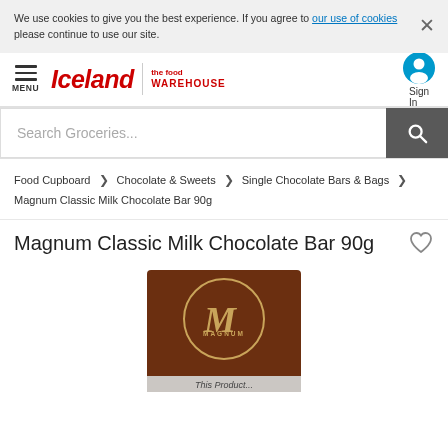We use cookies to give you the best experience. If you agree to our use of cookies please continue to use our site.
Iceland | the food WAREHOUSE — MENU | Sign In
Search Groceries...
Food Cupboard > Chocolate & Sweets > Single Chocolate Bars & Bags > Magnum Classic Milk Chocolate Bar 90g
Magnum Classic Milk Chocolate Bar 90g
[Figure (photo): Magnum chocolate bar product image showing the Magnum M logo on a dark brown chocolate background with a grey label strip at the bottom reading 'This Product...']